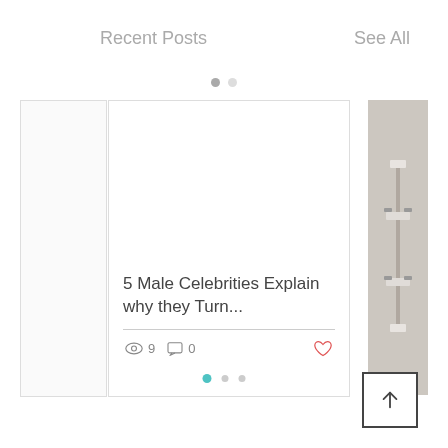Recent Posts
See All
5 Male Celebrities Explain why they Turn...
9 views, 0 comments, heart/like icon
[Figure (screenshot): A blog post card showing article title '5 Male Celebrities Explain why they Turn...' with view count 9, comment count 0, and a heart icon. A carousel with ghost cards on left and right, pagination dots above and below. A back-to-top button in the lower right.]